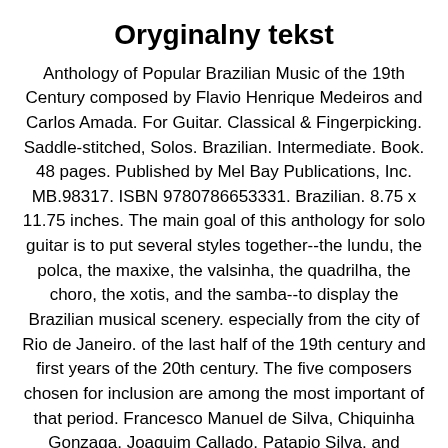Oryginalny tekst
Anthology of Popular Brazilian Music of the 19th Century composed by Flavio Henrique Medeiros and Carlos Amada. For Guitar. Classical & Fingerpicking. Saddle-stitched, Solos. Brazilian. Intermediate. Book. 48 pages. Published by Mel Bay Publications, Inc. MB.98317. ISBN 9780786653331. Brazilian. 8.75 x 11.75 inches. The main goal of this anthology for solo guitar is to put several styles together--the lundu, the polca, the maxixe, the valsinha, the quadrilha, the choro, the xotis, and the samba--to display the Brazilian musical scenery. especially from the city of Rio de Janeiro. of the last half of the 19th century and first years of the 20th century. The five composers chosen for inclusion are among the most important of that period. Francesco Manuel de Silva, Chiquinha Gonzaga, Joaquim Callado, Patapio Silva, and Anacleto de Medeiros. All twelve of the selections appear here in notation and tablature. Lundu da Marrequinha. Gaúcho. maxixe. Forrobodó.